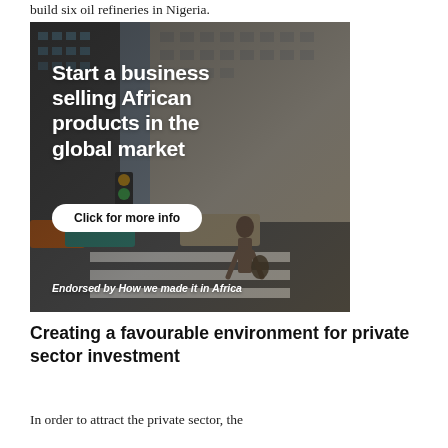build six oil refineries in Nigeria.
[Figure (photo): Advertisement photo showing a businessman in a suit crossing a zebra crossing on a city street with tall buildings in the background. Text overlay reads: 'Start a business selling African products in the global market' with a 'Click for more info' button and 'Endorsed by How we made it in Africa' at the bottom.]
Creating a favourable environment for private sector investment
In order to attract the private sector, the